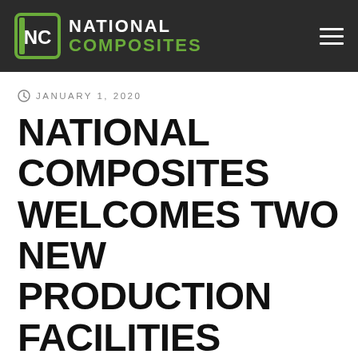National Composites
JANUARY 1, 2020
NATIONAL COMPOSITES WELCOMES TWO NEW PRODUCTION FACILITIES